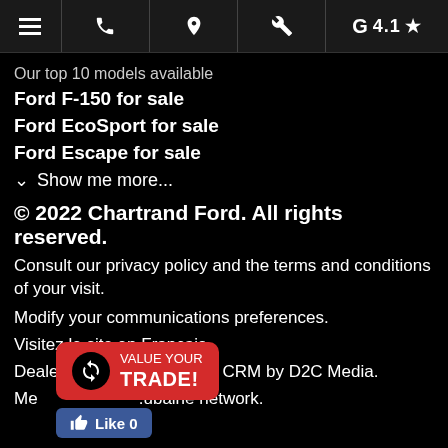Navigation bar with menu, phone, location, wrench, and G 4.1★
Our top 10 models available
Ford F-150 for sale
Ford EcoSport for sale
Ford Escape for sale
Show me more...
© 2022 Chartrand Ford. All rights reserved.
Consult our privacy policy and the terms and conditions of your visit.
Modify your communications preferences.
Visitez le site en Français
Dealer Website and Dealer CRM by D2C Media.
Me...ubaine network.
[Figure (screenshot): VALUE YOUR TRADE! red button with circular recycling icon]
[Figure (screenshot): Facebook Like 0 button]